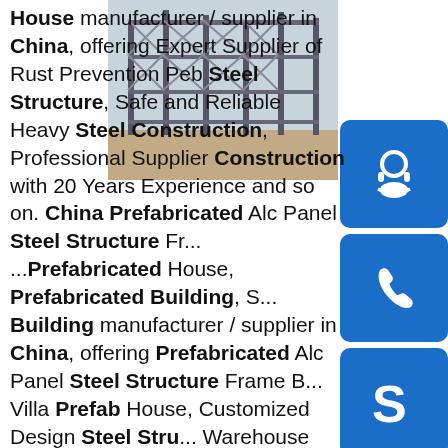House manufacturer / supplier in China, offering Expert Supplier of Rust Prevention Peb Steel Structure, Safe and Reliable Heavy Steel Construction, Professional Supplier Construction with 20 Years Experience and so on. China Prefabricated Alc Panel Steel Structure Fr... ...Prefabricated House, Prefabricated Building, S... Building manufacturer / supplier in China, offering Prefabricated Alc Panel Steel Structure Frame B... Villa Prefab House, Customized Design Steel Stru... Warehouse Storage Shed Prefabricated Steel Building, Competitive Steel Frame Prefabricated Steel Building Structural Steel Fabrication and so on.sp.info China Q235B Modular Heavy Prefabricated Metal Light Steel ...Steel Structure, Light Steel Structure, Prefabricated Structures manufacturer / supplier in China, offering Q235B Modular Heavy Prefabricated Metal Light Steel
[Figure (photo): Steel structure building framework under construction, showing metal beams and columns]
[Figure (infographic): Blue icon with headset/customer service symbol]
[Figure (infographic): Blue icon with telephone/phone symbol]
[Figure (infographic): Blue icon with Skype symbol]